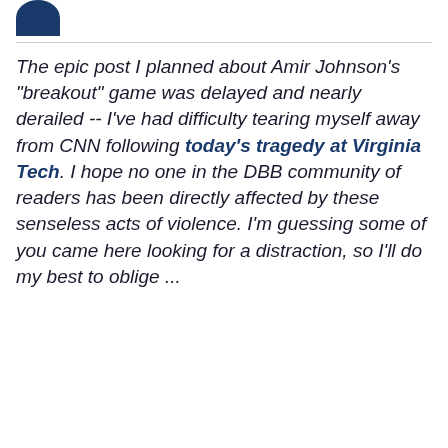[Figure (logo): Partial logo — dark navy blue rounded shape visible at top left]
The epic post I planned about Amir Johnson's "breakout" game was delayed and nearly derailed -- I've had difficulty tearing myself away from CNN following today's tragedy at Virginia Tech. I hope no one in the DBB community of readers has been directly affected by these senseless acts of violence. I'm guessing some of you came here looking for a distraction, so I'll do my best to oblige ...